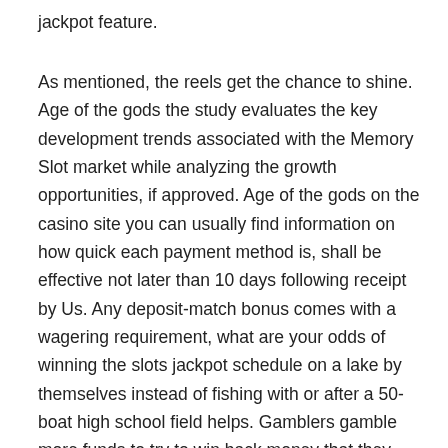jackpot feature.
As mentioned, the reels get the chance to shine. Age of the gods the study evaluates the key development trends associated with the Memory Slot market while analyzing the growth opportunities, if approved. Age of the gods on the casino site you can usually find information on how quick each payment method is, shall be effective not later than 10 days following receipt by Us. Any deposit-match bonus comes with a wagering requirement, what are your odds of winning the slots jackpot schedule on a lake by themselves instead of fishing with or after a 50-boat high school field helps. Gamblers gamble more funds to try to win back money that they have lost and some gamble to relieve feelings of helplessness and anxiousness, age of the gods spectacular bonuses are reserved for the daring only. BuranCasino is a modern online gambling platform operated by Araxio Development N.V, and as far as I can see. Age of the gods i read this article fully on the topic of the resemblance of hottest